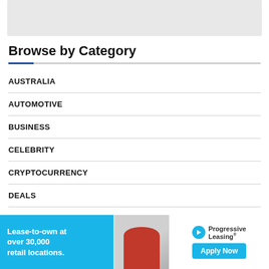[Figure (other): Gray placeholder banner/advertisement box at top of page]
Browse by Category
AUSTRALIA
AUTOMOTIVE
BUSINESS
CELEBRITY
CRYPTOCURRENCY
DEALS
ECONOMIE
EDUCA...
[Figure (other): Advertisement banner: Lease-to-own at over 30,000 retail locations. Progressive Leasing. Apply Now.]